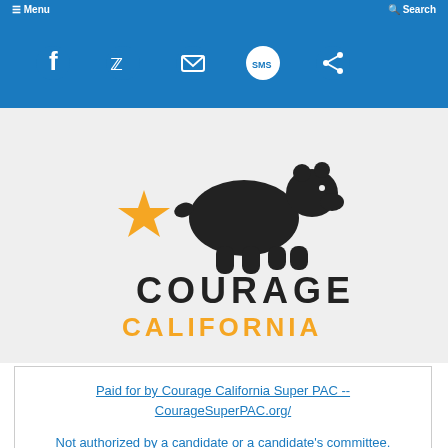Menu | Search
[Figure (infographic): Social media sharing icons on blue background: Facebook, Twitter, Email, SMS, Share]
[Figure (logo): Courage California logo with black bear silhouette, gold star, and text COURAGE CALIFORNIA]
Paid for by Courage California Super PAC -- CourageSuperPAC.org/

Not authorized by a candidate or a candidate's committee.